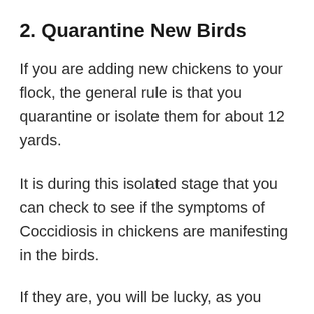2. Quarantine New Birds
If you are adding new chickens to your flock, the general rule is that you quarantine or isolate them for about 12 yards.
It is during this isolated stage that you can check to see if the symptoms of Coccidiosis in chickens are manifesting in the birds.
If they are, you will be lucky, as you have successfully scaled the potentiality of putting the health of your older birds at